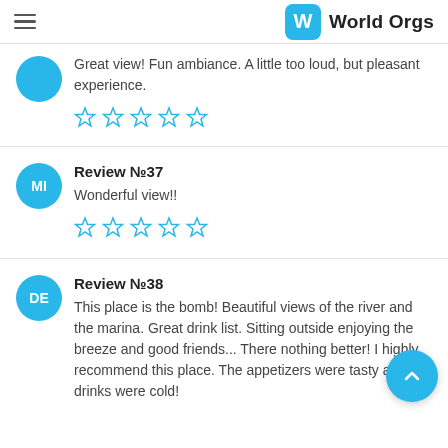World Orgs
Great view! Fun ambiance. A little too loud, but pleasant experience.
[Figure (other): 4-star rating (4 filled stars out of 5)]
Review №37
Wonderful view!!
[Figure (other): 4-star rating (4 filled stars out of 5)]
Review №38
This place is the bomb! Beautiful views of the river and the marina. Great drink list. Sitting outside enjoying the breeze and good friends... There nothing better! I highly recommend this place. The appetizers were tasty and the drinks were cold!